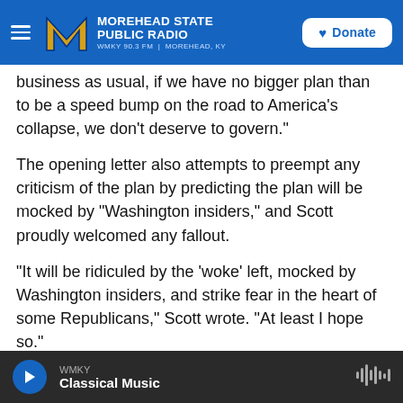Morehead State Public Radio — WMKY 90.3 FM | Morehead, KY — Donate
business as usual, if we have no bigger plan than to be a speed bump on the road to America's collapse, we don't deserve to govern."
The opening letter also attempts to preempt any criticism of the plan by predicting the plan will be mocked by "Washington insiders," and Scott proudly welcomed any fallout.
"It will be ridiculed by the 'woke' left, mocked by Washington insiders, and strike fear in the heart of some Republicans," Scott wrote. "At least I hope so."
WMKY — Classical Music